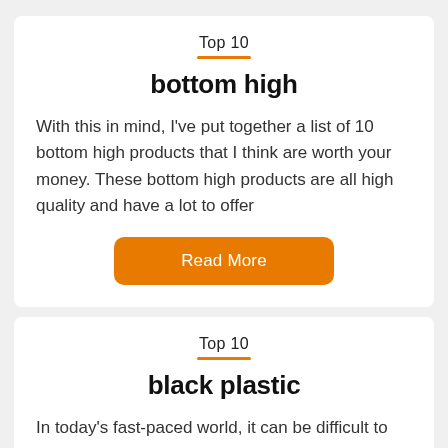Top 10
bottom high
With this in mind, I've put together a list of 10 bottom high products that I think are worth your money. These bottom high products are all high quality and have a lot to offer
Read More
Top 10
black plastic
In today's fast-paced world, it can be difficult to find the time to browse through stores and search for